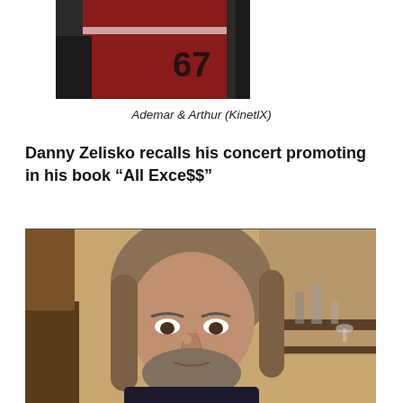[Figure (photo): Two people, one wearing a red jersey with number 67, cropped photo showing torso/body area]
Ademar & Arthur (KinetlX)
Danny Zelisko recalls his concert promoting in his book “All Exce$$”
[Figure (photo): Portrait photo of a middle-aged man with long salt-and-pepper hair and a beard, wearing a dark shirt, seated indoors with shelving visible in the background]